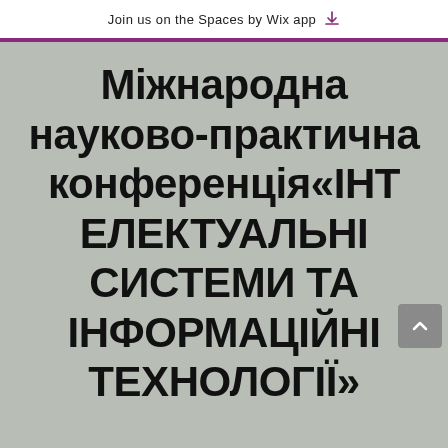Join us on the Spaces by Wix app
Міжнародна науково-практична конференція«ІНТЕЛЕКТУАЛЬНІ СИСТЕМИ ТА ІНФОРМАЦІЙНІ ТЕХНОЛОГІЇ»